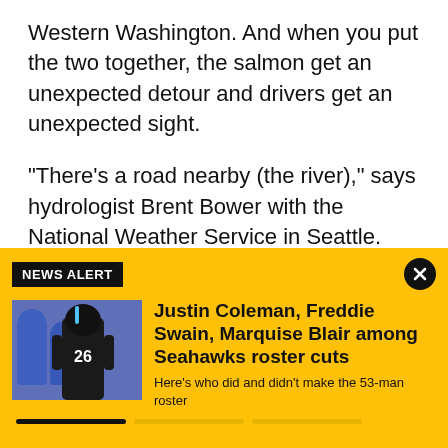Western Washington. And when you put the two together, the salmon get an unexpected detour and drivers get an unexpected sight.
"There's a road nearby (the river)," says hydrologist Brent Bower with the National Weather Service in Seattle. "So basically what's happened is (the salmon) are trying to go up the river. But when the river floods, they don't necessarily know what's the actual river
NEWS ALERT
[Figure (photo): Football player in dark uniform with number 26 on field, other players in blue uniforms visible in background]
Justin Coleman, Freddie Swain, Marquise Blair among Seahawks roster cuts
Here's who did and didn't make the 53-man roster